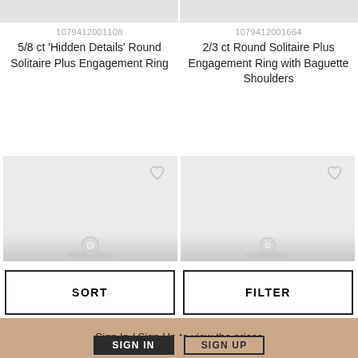1079412001108
5/8 ct 'Hidden Details' Round Solitaire Plus Engagement Ring
1079412001664
2/3 ct Round Solitaire Plus Engagement Ring with Baguette Shoulders
[Figure (photo): Product image of engagement ring (left), partially cropped at top]
[Figure (photo): Product image of engagement ring (right), partially cropped at top]
[Figure (photo): Product image of engagement ring (left) with heart/wishlist icon]
[Figure (photo): Product image of engagement ring (right) with heart/wishlist icon]
SORT
FILTER
Sign In / Sign Up to view the prices
SIGN IN
SIGN UP